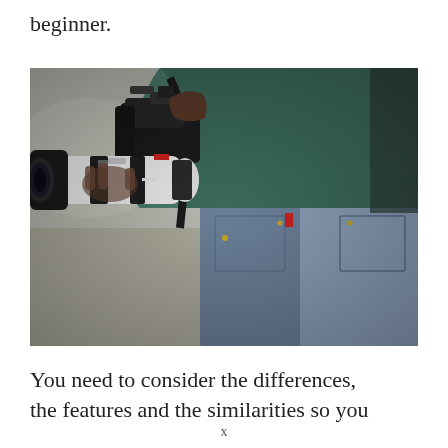beginner.
[Figure (photo): Person from behind holding a large DSLR camera with a long white telephoto lens, wearing jeans and a teal jacket, raising the camera to take a photo.]
You need to consider the differences, the features and the similarities so you